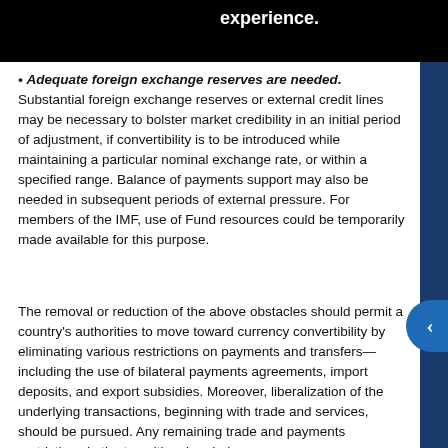safety experience. adjustments considerations.
• Adequate foreign exchange reserves are needed. Substantial foreign exchange reserves or external credit lines may be necessary to bolster market credibility in an initial period of adjustment, if convertibility is to be introduced while maintaining a particular nominal exchange rate, or within a specified range. Balance of payments support may also be needed in subsequent periods of external pressure. For members of the IMF, use of Fund resources could be temporarily made available for this purpose.
The removal or reduction of the above obstacles should permit a country's authorities to move toward currency convertibility by eliminating various restrictions on payments and transfers—including the use of bilateral payments agreements, import deposits, and export subsidies. Moreover, liberalization of the underlying transactions, beginning with trade and services, should be pursued. Any remaining trade and payments restrictions in the transitional period